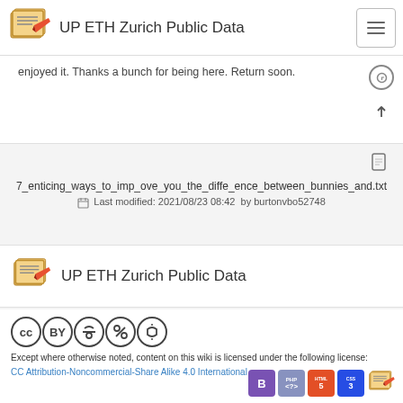UP ETH Zurich Public Data
enjoyed it. Thanks a bunch for being here. Return soon.
7_enticing_ways_to_imp_ove_you_the_diffe_ence_between_bunnies_and.txt
Last modified: 2021/08/23 08:42  by burtonvbo52748
UP ETH Zurich Public Data
[Figure (logo): Creative Commons license icons: CC BY-NC-SA]
Except where otherwise noted, content on this wiki is licensed under the following license:
CC Attribution-Noncommercial-Share Alike 4.0 International
[Figure (logo): Technology badges: Bootstrap, PHP, HTML5, CSS3, DokuWiki]